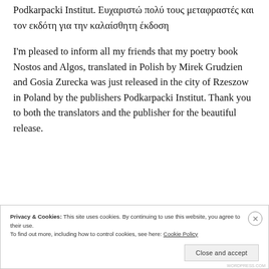Podkarpacki Institut. Ευχαριστώ πολύ τους μεταφραστές και τον εκδότη για την καλαίσθητη έκδοση
I'm pleased to inform all my friends that my poetry book Nostos and Algos, translated in Polish by Mirek Grudzien and Gosia Zurecka was just released in the city of Rzeszow in Poland by the publishers Podkarpackki Institut. Thank you to both the translators and the publisher for the beautiful release.
Privacy & Cookies: This site uses cookies. By continuing to use this website, you agree to their use.
To find out more, including how to control cookies, see here: Cookie Policy
Close and accept